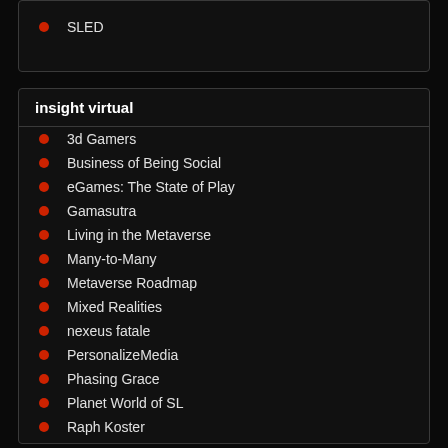SLED
insight virtual
3d Gamers
Business of Being Social
eGames: The State of Play
Gamasutra
Living in the Metaverse
Many-to-Many
Metaverse Roadmap
Mixed Realities
nexeus fatale
PersonalizeMedia
Phasing Grace
Planet World of SL
Raph Koster
Second Tense
Terra Nova
UGO Trade